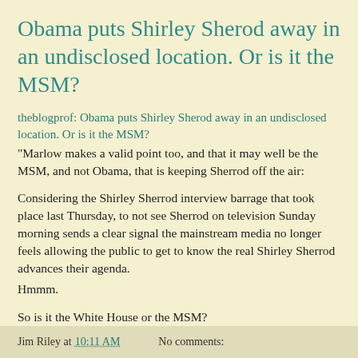Obama puts Shirley Sherod away in an undisclosed location. Or is it the MSM?
theblogprof: Obama puts Shirley Sherod away in an undisclosed location. Or is it the MSM?
"Marlow makes a valid point too, and that it may well be the MSM, and not Obama, that is keeping Sherrod off the air:
Considering the Shirley Sherrod interview barrage that took place last Thursday, to not see Sherrod on television Sunday morning sends a clear signal the mainstream media no longer feels allowing the public to get to know the real Shirley Sherrod advances their agenda.
Hmmm.
So is it the White House or the MSM?
Or both?"
Jim Riley at 10:11 AM   No comments: